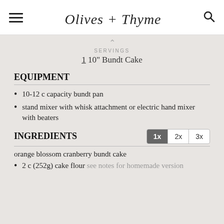Olives + Thyme
SERVINGS
1 10" Bundt Cake
EQUIPMENT
10-12 c capacity bundt pan
stand mixer with whisk attachment or electric hand mixer with beaters
INGREDIENTS
orange blossom cranberry bundt cake
2 c (252g) cake flour see notes for homemade version